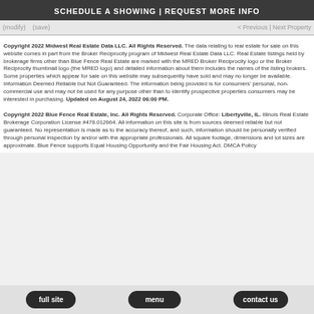SCHEDULE A SHOWING | REQUEST MORE INFO
(modify)   (save)   < Previous | Next Property
Copyright 2022 Midwest Real Estate Data LLC. All Rights Reserved. The data relating to real estate for sale on this website comes in part from the Broker Reciprocity program of Midwest Real Estate Data LLC. Real Estate listings held by brokerage firms other than Blue Fence Real Estate are marked with the MRED Broker Reciprocity logo or the Broker Reciprocity thumbnail logo (the MRED logo) and detailed information about them includes the names of the listing brokers. Some properties which appear for sale on this website may subsequently have sold and may no longer be available. Information Deemed Reliable but Not Guaranteed. The information being provided is for consumers' personal, non-commercial use and may not be used for any purpose other than to identify prospective properties consumers may be interested in purchasing. Updated on August 24, 2022 06:00 PM.
Copyright 2022 Blue Fence Real Estate, Inc. All Rights Reserved. Corporate Office: Libertyville, IL. Illinois Real Estate Brokerage Corporation License #478.012664. All information on this site is from sources deemed reliable but not guaranteed. No representation is made as to the accuracy thereof, and such, information should be personally verified through personal inspection by and/or with the appropriate professionals. All square footage, dimensions and lot sizes are approximate. Blue Fence supports Equal Housing Opportunity and the Fair Housing Act. DMCA Policy
full site   menu   contact us